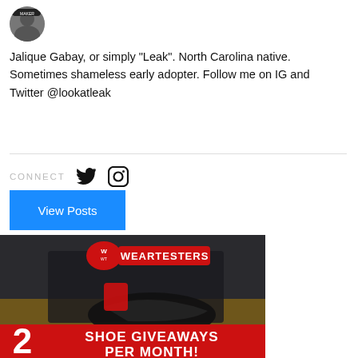[Figure (photo): Profile avatar photo of a person wearing a headband]
Jalique Gabay, or simply "Leak". North Carolina native. Sometimes shameless early adopter. Follow me on IG and Twitter @lookatleak
CONNECT
[Figure (logo): View Posts button - blue rectangle with white text]
[Figure (photo): WearTesters advertisement showing basketball shoes with text '2 SHOE GIVEAWAYS PER MONTH!']